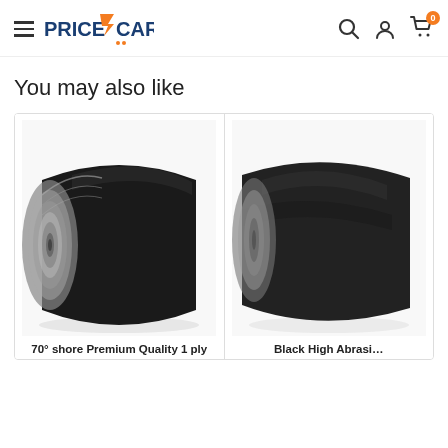PriceCart — navigation header with hamburger menu, logo, search, account, and cart (0 items)
You may also like
[Figure (photo): Roll of black 70° shore Premium Quality 1 ply rubber sheeting, with grey/silver underside visible]
70° shore Premium Quality 1 ply
[Figure (photo): Roll of Black High Abrasion rubber sheeting, partially visible on right side of page]
Black High Abrasi…